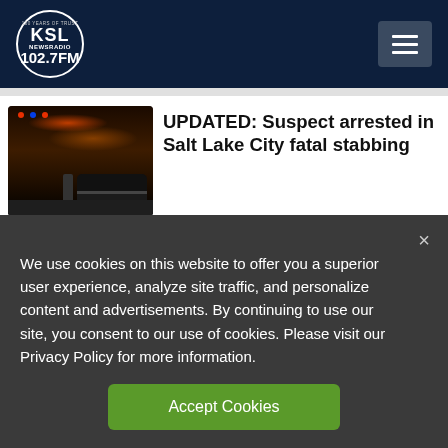KSL NewsRadio 102.7FM — 100 Years of Trust
[Figure (photo): Night scene with police car and figure, thumbnail for stabbing story]
UPDATED: Suspect arrested in Salt Lake City fatal stabbing
[Figure (photo): Mugshot of a young man, thumbnail for shooting story]
A 25-year-old man has been charged in the shooting
We use cookies on this website to offer you a superior user experience, analyze site traffic, and personalize content and advertisements. By continuing to use our site, you consent to our use of cookies. Please visit our Privacy Policy for more information.
Accept Cookies